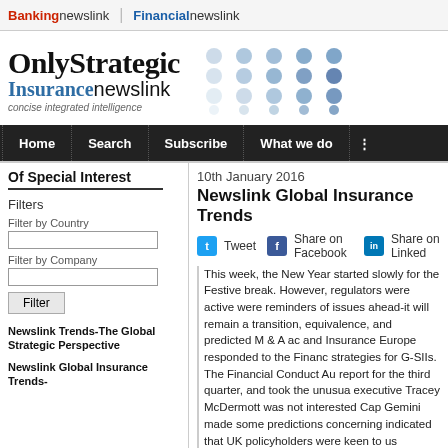Bankingnewslink | Financialnewslink
[Figure (logo): OnlyStrategic Insurancenewslink logo with dot grid graphic and tagline 'concise integrated intelligence']
Home | Search | Subscribe | What we do
Of Special Interest
Filters
Filter by Country
Filter by Company
Filter
Newslink Trends-The Global Strategic Perspective
Newslink Global Insurance Trends-
10th January 2016
Newslink Global Insurance Trends
Tweet  Share on Facebook  Share on Linked
This week, the New Year started slowly for the Festive break. However, regulators were active were reminders of issues ahead-it will remain a transition, equivalence, and predicted M & A ac and Insurance Europe responded to the Financ strategies for G-SIIs. The Financial Conduct Au report for the third quarter, and took the unusua executive Tracey McDermott was not interested Cap Gemini made some predictions concerning indicated that UK policyholders were keen to us released a survey highlighting that 70% of finan